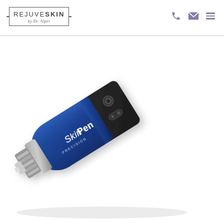REJUVESKIN by Dr. Alper — navigation header with phone, email, and menu icons
[Figure (photo): A SkinPen Precision microneedling device photographed at an angle against a white background. The device is metallic blue with a black grip section, features the SkinPen logo in white text, has control buttons visible, and tapers to a silver cartridge tip at the lower right.]